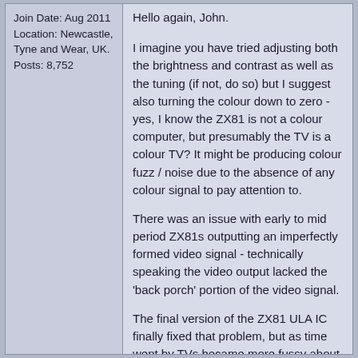Join Date: Aug 2011
Location: Newcastle, Tyne and Wear, UK.
Posts: 8,752
Hello again, John.

I imagine you have tried adjusting both the brightness and contrast as well as the tuning (if not, do so) but I suggest also turning the colour down to zero - yes, I know the ZX81 is not a colour computer, but presumably the TV is a colour TV? It might be producing colour fuzz / noise due to the absence of any colour signal to pay attention to.

There was an issue with early to mid period ZX81s outputting an imperfectly formed video signal - technically speaking the video output lacked the 'back porch' portion of the video signal.

The final version of the ZX81 ULA IC finally fixed that problem, but as time went by TVs became more fussy about the video input signal and the output from an early to mid period ZX81 with an earlier ULA can often look poor / dim on a later CRT or flatscreen